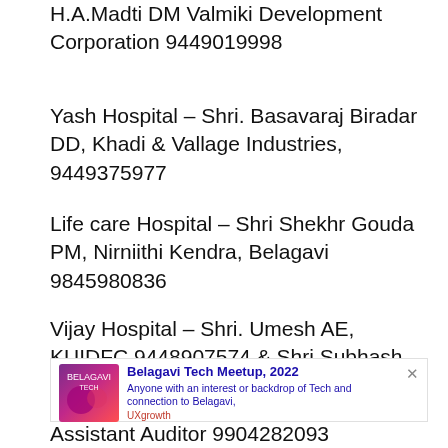H.A.Madti DM Valmiki Development Corporation 9449019998
Yash Hospital – Shri. Basavaraj Biradar DD, Khadi & Vallage Industries, 9449375977
Life care Hospital – Shri Shekhr Gouda PM, Nirniithi Kendra, Belagavi 9845980836
Vijay Hospital – Shri. Umesh AE, KUIDFC 9448907574 & Shri Subhash Uppar DD,
[Figure (infographic): Advertisement banner for Belagavi Tech Meetup, 2022 with purple/pink gradient image on left, title in blue bold, description in blue, source 'UXgrowth' in red, and close X button]
Assistant Auditor 9904282093